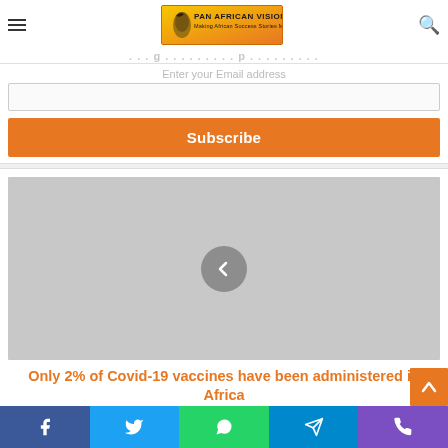Pan African Visions — navigation bar with logo, hamburger menu, and search icon
Enter your Email address
Subscribe
[Figure (photo): Grey placeholder image for a news article carousel with a left-arrow navigation button]
Only 2% of Covid-19 vaccines have been administered in Africa
Social share bar: Facebook, Twitter, WhatsApp, Telegram, Viber/phone